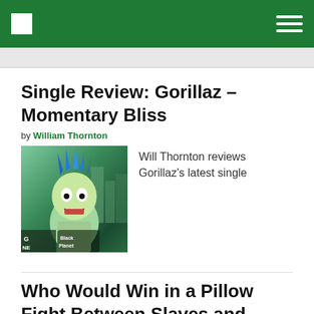Navigation bar with logo and hamburger menu
Single Review: Gorillaz – Momentary Bliss
by William Thornton
[Figure (photo): Gorillaz animated character with blue hair against a city backdrop, with 'Black Planet' logo visible]
Will Thornton reviews Gorillaz's latest single
Who Would Win in a Pillow Fight Between Slaves and Drenge?